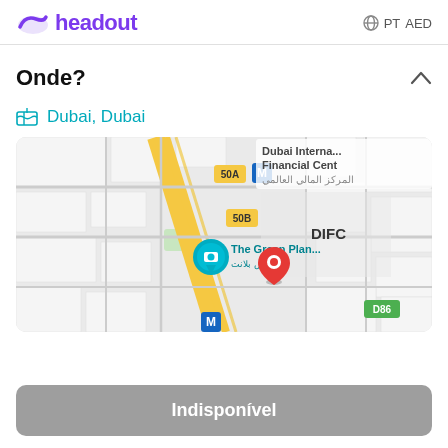headout   PT  AED
Onde?
Dubai, Dubai
[Figure (map): Google Maps screenshot showing Dubai, DIFC area with a red location pin near The Green Planet marker and surrounding streets and roads]
Indisponível